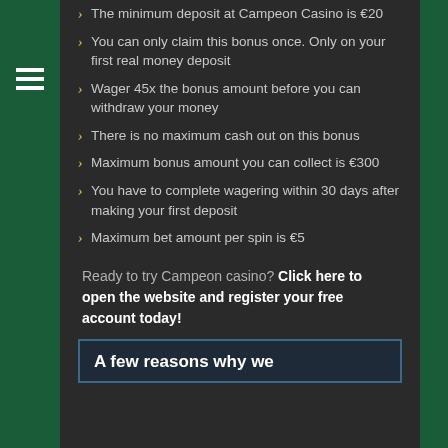The minimum deposit at Campeon Casino is €20
You can only claim this bonus once. Only on your first real money deposit
Wager 45x the bonus amount before you can withdraw your money
There is no maximum cash out on this bonus
Maximum bonus amount you can collect is €300
You have to complete wagering within 30 days after making your first deposit
Maximum bet amount per spin is €5
Ready to try Campeon casino? Click here to open the website and register your free account today!
A few reasons why we